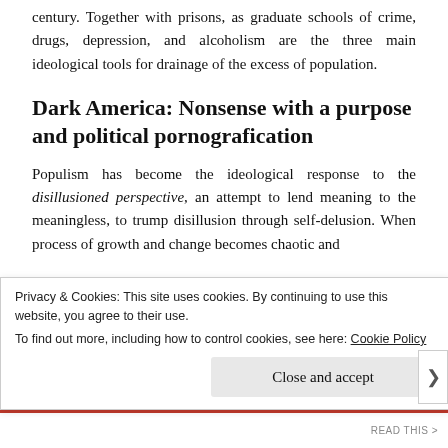century. Together with prisons, as graduate schools of crime, drugs, depression, and alcoholism are the three main ideological tools for drainage of the excess of population.
Dark America: Nonsense with a purpose and political pornografication
Populism has become the ideological response to the disillusioned perspective, an attempt to lend meaning to the meaningless, to trump disillusion through self-delusion. When process of growth and change becomes chaotic and
Privacy & Cookies: This site uses cookies. By continuing to use this website, you agree to their use.
To find out more, including how to control cookies, see here: Cookie Policy
Close and accept